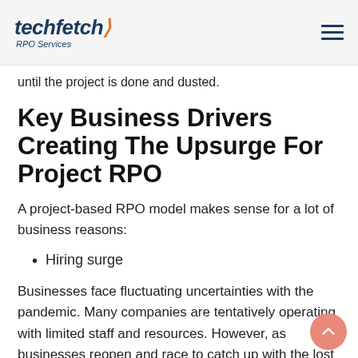techfetch RPO Services
until the project is done and dusted.
Key Business Drivers Creating The Upsurge For Project RPO
A project-based RPO model makes sense for a lot of business reasons:
Hiring surge
Businesses face fluctuating uncertainties with the pandemic. Many companies are tentatively operating with limited staff and resources. However, as businesses reopen and race to catch up with the lost time, they are experiencing a